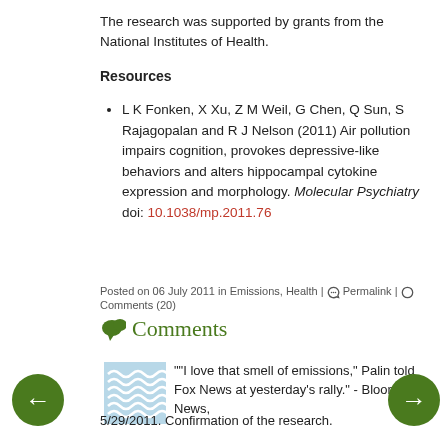The research was supported by grants from the National Institutes of Health.
Resources
L K Fonken, X Xu, Z M Weil, G Chen, Q Sun, S Rajagopalan and R J Nelson (2011) Air pollution impairs cognition, provokes depressive-like behaviors and alters hippocampal cytokine expression and morphology. Molecular Psychiatry doi: 10.1038/mp.2011.76
Posted on 06 July 2011 in Emissions, Health | Permalink | Comments (20)
Comments
""I love that smell of emissions," Palin told Fox News at yesterday's rally." - Bloomberg News, 5/29/2011. Confirmation of the research.